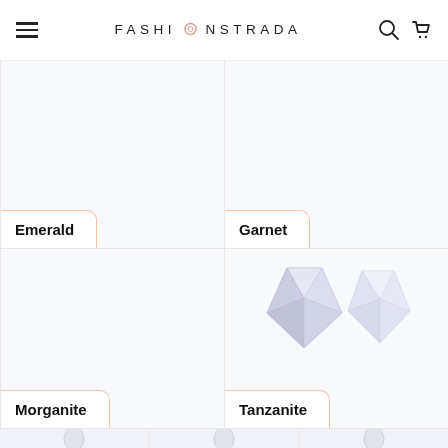FASHIONSTRADA
Emerald
Garnet
Morganite
Tanzanite
[Figure (photo): Tanzanite gemstones - two pale blue/lavender triangular cut stones]
[Figure (photo): Bottom row of gemstone product thumbnails partially visible]